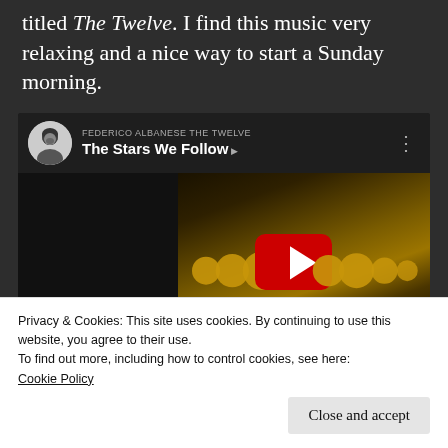titled The Twelve. I find this music very relaxing and a nice way to start a Sunday morning.
[Figure (screenshot): YouTube video embed showing 'The Stars We Follow' by Federico Albanese from the album The Twelve, with a YouTube play button overlay on a dark golden album art thumbnail, and a circular avatar of the artist on the left.]
Privacy & Cookies: This site uses cookies. By continuing to use this website, you agree to their use.
To find out more, including how to control cookies, see here:
Cookie Policy
Close and accept